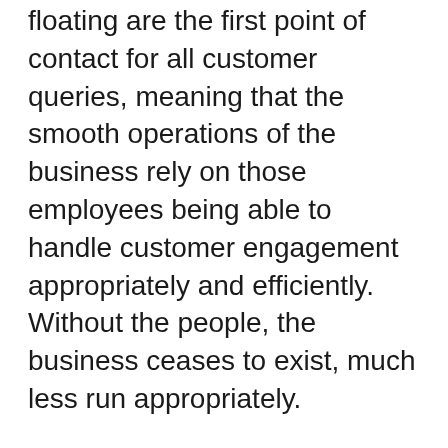floating are the first point of contact for all customer queries, meaning that the smooth operations of the business rely on those employees being able to handle customer engagement appropriately and efficiently. Without the people, the business ceases to exist, much less run appropriately.
Every business must invest heavily in two key business aspects for it to flourish in the current (and future) economy. The website and the people that work at the business are the two biggest and most important influences in the longevity and overall success of the business. Without either one of them – and especially